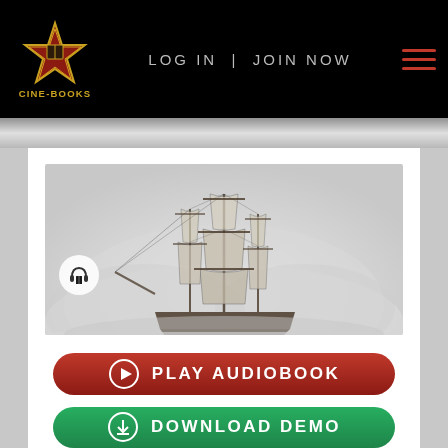CINE-BOOKS | LOG IN | JOIN NOW
[Figure (screenshot): Cine-Books website page showing audiobook listing for 'Kidnapped' by Robert Louis Stevenson with a tall sailing ship in misty illustration as the book cover, with PLAY AUDIOBOOK (red button) and DOWNLOAD DEMO (green button) below.]
KIDNAPPED
Robert Louis Stevenson
PLAY AUDIOBOOK
DOWNLOAD DEMO